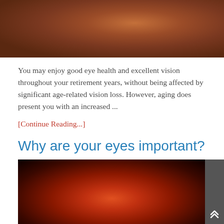[Figure (photo): Close-up macro photo of a brown/reddish eye, showing skin texture and moist surface detail]
You may enjoy good eye health and excellent vision throughout your retirement years, without being affected by significant age-related vision loss. However, aging does present you with an increased ...
[Continue Reading...]
Why are your eyes important?
[Figure (photo): Close-up medical/scientific image of an eye showing internal structures with orange-red illumination, possibly a fundus or transillumination photograph]